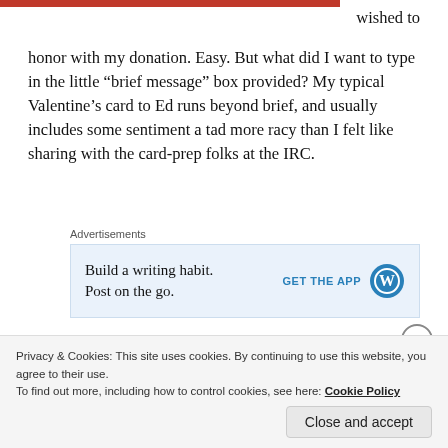[Figure (other): Red decorative bar at the top of the page]
wished to honor with my donation. Easy. But what did I want to type in the little “brief message” box provided? My typical Valentine’s card to Ed runs beyond brief, and usually includes some sentiment a tad more racy than I felt like sharing with the card-prep folks at the IRC.
Advertisements
[Figure (other): WordPress advertisement: 'Build a writing habit. Post on the go.' with GET THE APP button and WordPress logo]
You may think, being a writer, a brief message would be a piece of cake, but I continued to stare at that blank space,
Privacy & Cookies: This site uses cookies. By continuing to use this website, you agree to their use.
To find out more, including how to control cookies, see here: Cookie Policy
Close and accept